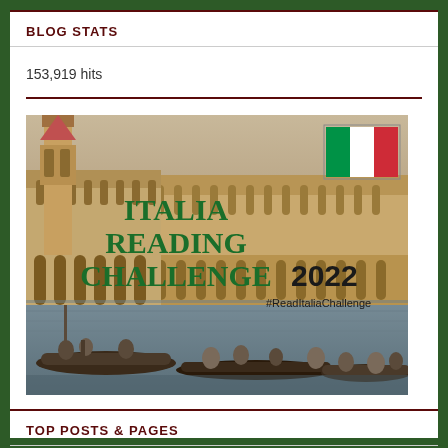BLOG STATS
153,919 hits
[Figure (illustration): Italia Reading Challenge 2022 promotional image featuring a painting of Venice (Piazza San Marco from the water with gondolas), overlaid with green text 'ITALIA READING CHALLENGE 2022', hashtag '#ReadItaliaChallenge', and an Italian flag in the top right corner.]
TOP POSTS & PAGES